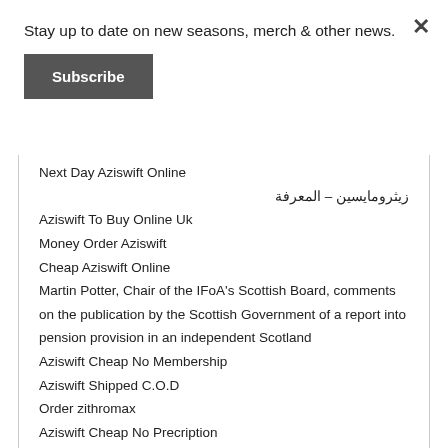Stay up to date on new seasons, merch & other news.
Subscribe
Next Day Aziswift Online
زيثرومايسين – المعرفة
Aziswift To Buy Online Uk
Money Order Aziswift
Cheap Aziswift Online
Martin Potter, Chair of the IFoA's Scottish Board, comments on the publication by the Scottish Government of a report into pension provision in an independent Scotland
Aziswift Cheap No Membership
Aziswift Shipped C.O.D
Order zithromax
Aziswift Cheap No Precription
Buy Generic Aziswift Uk
Aziswift Overnight Discover Card
Cheap Aziswift Saturday Delivery
Order Aziswift In USA